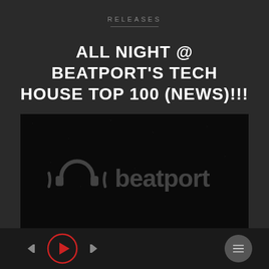RELEASES
ALL NIGHT @ BEATPORT'S TECH HOUSE TOP 100 (NEWS)!!!
[Figure (screenshot): Beatport music platform screenshot showing the beatport logo in dark background with text 'PULITANO&MANSION - ALL NIGHT // N. 50 TECH HOUSE TOP 100 NEWS']
PULITANO&MANSION - ALL NIGHT // N. 50 TECH HOUSE TOP 100 'NEWS'